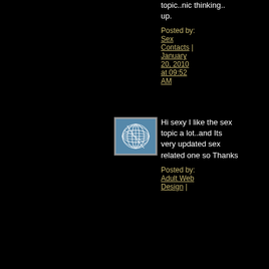topic..nic thinking.. up.
Posted by: Sex Contacts | January 20, 2010 at 09:52 AM
[Figure (illustration): Blue globe/grid avatar icon with white curved grid lines on blue background]
Hi sexy I like the sex topic a lot..and Its very updated sex related one so Thanks
Posted by: Adult Web Design |